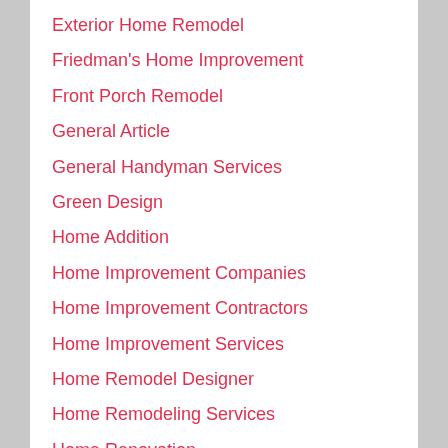Exterior Home Remodel
Friedman's Home Improvement
Front Porch Remodel
General Article
General Handyman Services
Green Design
Home Addition
Home Improvement Companies
Home Improvement Contractors
Home Improvement Services
Home Remodel Designer
Home Remodeling Services
Home Renovation